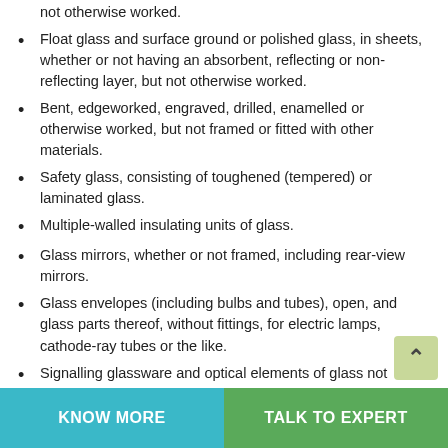having an absorbent, reflecting or non-reflecting layer, but not otherwise worked.
Float glass and surface ground or polished glass, in sheets, whether or not having an absorbent, reflecting or non-reflecting layer, but not otherwise worked.
Bent, edgeworked, engraved, drilled, enamelled or otherwise worked, but not framed or fitted with other materials.
Safety glass, consisting of toughened (tempered) or laminated glass.
Multiple-walled insulating units of glass.
Glass mirrors, whether or not framed, including rear-view mirrors.
Glass envelopes (including bulbs and tubes), open, and glass parts thereof, without fittings, for electric lamps, cathode-ray tubes or the like.
Signalling glassware and optical elements of glass not optically worked.
Paving blocks, slabs, bricks, squares, tiles and other articles of pressed or moulded glass, whether or not wired, of a kind
KNOW MORE   TALK TO EXPERT